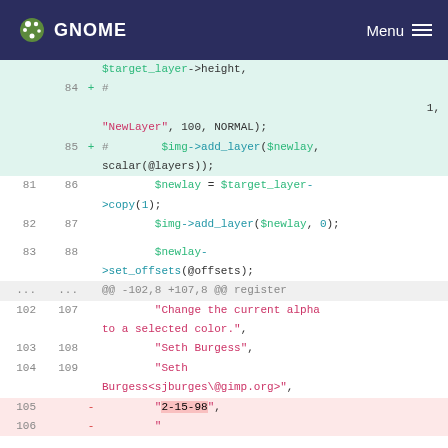GNOME   Menu
[Figure (screenshot): Code diff view showing changes to a Perl script with line numbers, added lines in green and removed lines in red, on a GNOME website interface.]